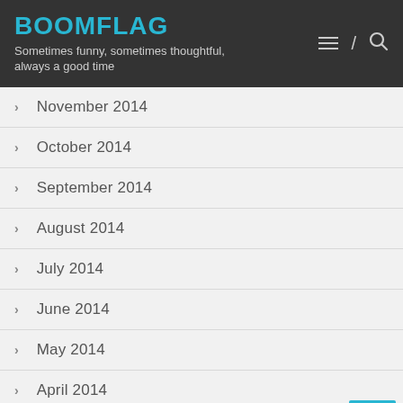BOOMFLAG
Sometimes funny, sometimes thoughtful, always a good time
November 2014
October 2014
September 2014
August 2014
July 2014
June 2014
May 2014
April 2014
March 2014
February 2014